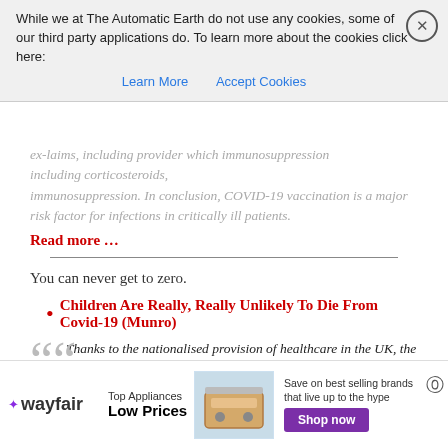ex-laims, including provider which immunosuppression including corticosteroids, immunosuppression. In conclusion, COVID-19 vaccination is a major risk factor for infections in critically ill patients.
Read more …
You can never get to zero.
Children Are Really, Really Unlikely To Die From Covid-19 (Munro)
Thanks to the nationalised provision of healthcare in the UK, the author group from the UK Health Security Agency were able to link up data from children with a positive Covid-19 test between March 2020 and December 2021 with healthcare data from the NHS. They looked for anyone aged <20 years who died within 100 days of a positive test for Covid-19. The family doctors of the patients were surveyed for
[Figure (other): Wayfair advertisement banner: Top Appliances Low Prices, Save on best selling brands that live up to the hype, Shop now button]